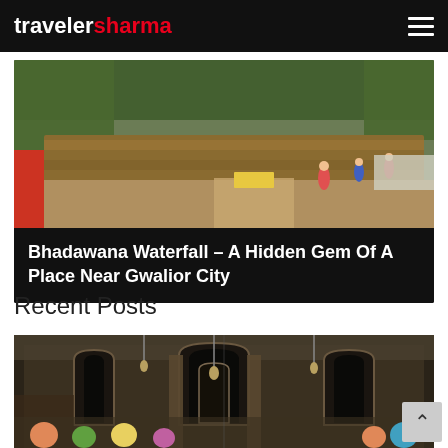travelersharma
[Figure (photo): Bhadawana Waterfall scene - a river with brownish water, people standing near the bank, green trees and vegetation in background]
Bhadawana Waterfall – A Hidden Gem Of A Place Near Gwalior City
Recent Posts
[Figure (photo): Interior of an ornate Indian temple with decorated arches and columns, crowd of devotees visible inside]